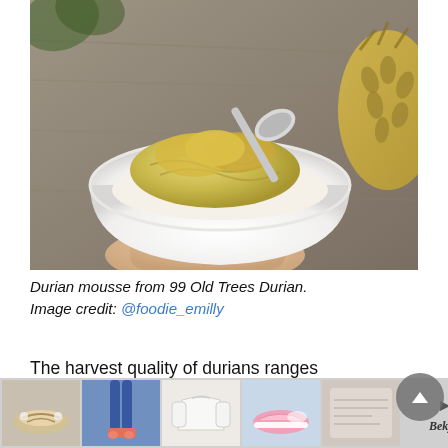[Figure (photo): A hand holding a white bowl containing durian mousse — creamy yellow fibrous durian flesh scooped on top of white cream/ice cream, with a silver spoon. A whole durian fruit is visible in the background on a wooden surface.]
Durian mousse from 99 Old Trees Durian.
Image credit: @foodie_emilly
The harvest quality of durians ranges throughout the season, so you know you're getting the good